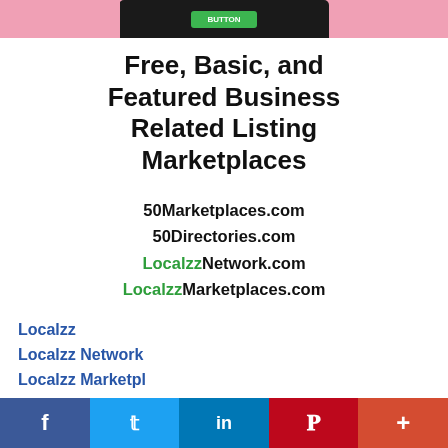[Figure (photo): Top banner image showing a smartphone on a pink background with a green button, partially cropped]
Free, Basic, and Featured Business Related Listing Marketplaces
50Marketplaces.com
50Directories.com
LocalzzNetwork.com
LocalzzMarketplaces.com
Localzz
Localzz Network
Localzz Marketplaces
[Figure (infographic): Social sharing bar with Facebook, Twitter, LinkedIn, Pinterest, and More buttons]